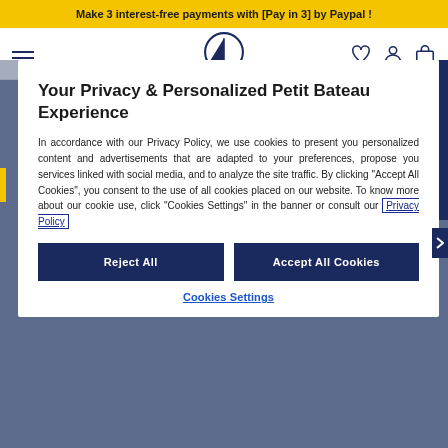Make 3 interest-free payments with [Pay in 3] by Paypal !
[Figure (logo): Petit Bateau sailboat logo in navy blue circle]
Your Privacy & Personalized Petit Bateau Experience
In accordance with our Privacy Policy, we use cookies to present you personalized content and advertisements that are adapted to your preferences, propose you services linked with social media, and to analyze the site traffic. By clicking "Accept All Cookies", you consent to the use of all cookies placed on our website. To know more about our cookie use, click "Cookies Settings" in the banner or consult our Privacy Policy
Reject All
Accept All Cookies
Cookies Settings